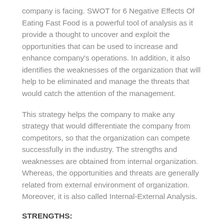company is facing. SWOT for 6 Negative Effects Of Eating Fast Food is a powerful tool of analysis as it provide a thought to uncover and exploit the opportunities that can be used to increase and enhance company's operations. In addition, it also identifies the weaknesses of the organization that will help to be eliminated and manage the threats that would catch the attention of the management.
This strategy helps the company to make any strategy that would differentiate the company from competitors, so that the organization can compete successfully in the industry. The strengths and weaknesses are obtained from internal organization. Whereas, the opportunities and threats are generally related from external environment of organization. Moreover, it is also called Internal-External Analysis.
STRENGTHS: